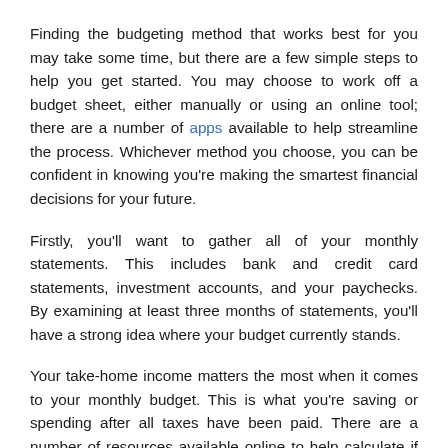Finding the budgeting method that works best for you may take some time, but there are a few simple steps to help you get started. You may choose to work off a budget sheet, either manually or using an online tool; there are a number of apps available to help streamline the process. Whichever method you choose, you can be confident in knowing you're making the smartest financial decisions for your future.
Firstly, you'll want to gather all of your monthly statements. This includes bank and credit card statements, investment accounts, and your paychecks. By examining at least three months of statements, you'll have a strong idea where your budget currently stands.
Your take-home income matters the most when it comes to your monthly budget. This is what you're saving or spending after all taxes have been paid. There are a number of resources available online to help calculate if you're unsure how much you're taking home. Some employers include on the budget...